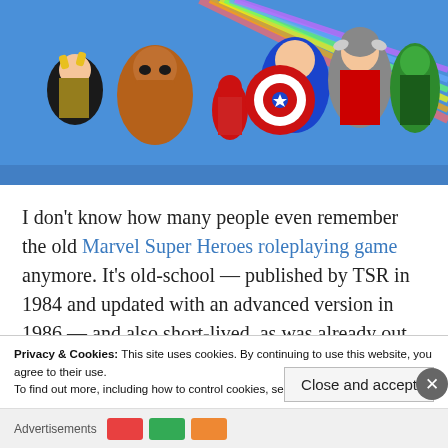[Figure (illustration): Comic book cover art showing Marvel superheroes including Wolverine, The Thing, Daredevil, Captain America, Thor, She-Hulk, and others on a colorful blue background with rainbow beams]
I don't know how many people even remember the old Marvel Super Heroes roleplaying game anymore. It's old-school — published by TSR in 1984 and updated with an advanced version in 1986 — and also short-lived, as was already out of print by the time I found it in the early '90s.
Privacy & Cookies: This site uses cookies. By continuing to use this website, you agree to their use.
To find out more, including how to control cookies, see here: Cookie Policy
Close and accept
Advertisements